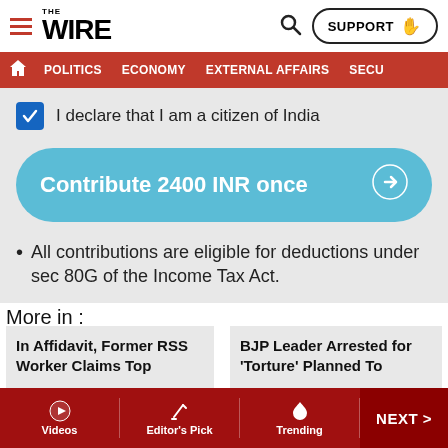THE WIRE — POLITICS | ECONOMY | EXTERNAL AFFAIRS | SECU
I declare that I am a citizen of India
Contribute 2400 INR once →
All contributions are eligible for deductions under sec 80G of the Income Tax Act.
More in :
In Affidavit, Former RSS Worker Claims Top
BJP Leader Arrested for 'Torture' Planned To
Videos | Editor's Pick | Trending | NEXT >